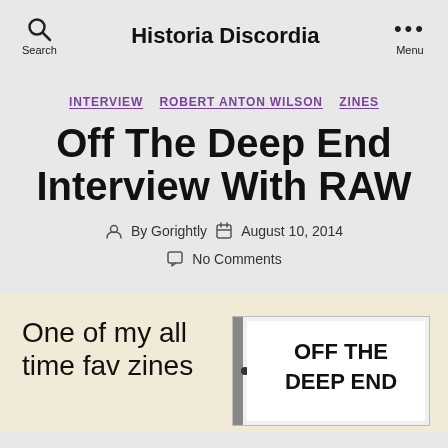Search   Historia Discordia   Menu
INTERVIEW  ROBERT ANTON WILSON  ZINES
Off The Deep End Interview With RAW
By Gorightly   August 10, 2014
No Comments
One of my all time fav zines
[Figure (photo): Zine cover showing text OFF THE DEEP END in bold black letters on white background]